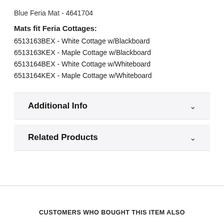Blue Feria Mat - 4641704
Mats fit Feria Cottages:
6513163BEX - White Cottage w/Blackboard
6513163KEX - Maple Cottage w/Blackboard
6513164BEX - White Cottage w/Whiteboard
6513164KEX - Maple Cottage w/Whiteboard
Additional Info
Related Products
CUSTOMERS WHO BOUGHT THIS ITEM ALSO